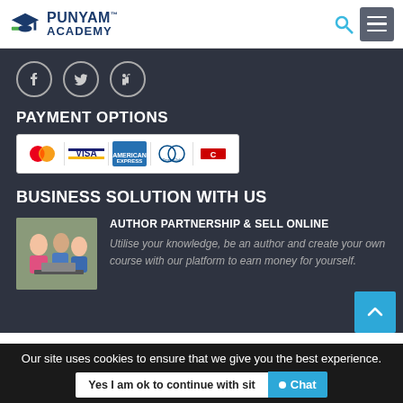[Figure (logo): Punyam Academy logo with mortarboard icon and blue/green text]
[Figure (infographic): Social media icons: Facebook, Twitter, LinkedIn in circles]
PAYMENT OPTIONS
[Figure (infographic): Payment card logos: MasterCard, VISA, American Express, Diners Club International, and one more]
BUSINESS SOLUTION WITH US
[Figure (photo): Students working together on a laptop]
AUTHOR PARTNERSHIP & SELL ONLINE
Utilise your knowledge, be an author and create your own course with our platform to earn money for yourself.
Our site uses cookies to ensure that we give you the best experience.
Yes I am ok to continue with sit
Chat